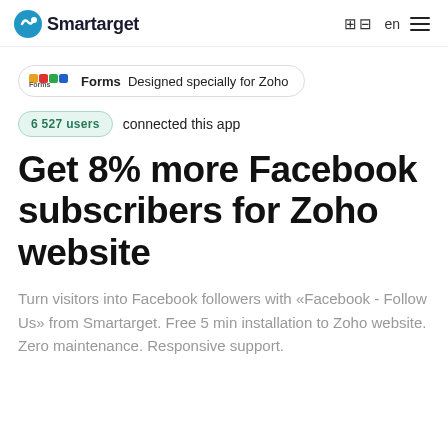Smartarget  🌐 en  ☰
[Figure (logo): Zoho Forms badge with colored Zoho logo squares and text 'Forms  Designed specially for Zoho']
6 527 users  connected this app
Get 8% more Facebook subscribers for Zoho website
Turn visitors into Facebook followers with «Facebook - Follow Us» from Smartarget. Free 5 min installation to Zoho website. Zero maintenance. Responsive support.